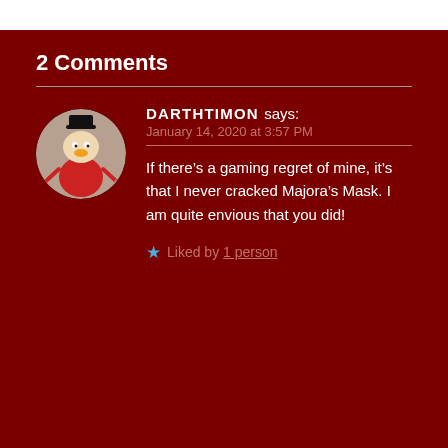2 Comments
[Figure (photo): Circular avatar image of a cartoon duck character (Scrooge McDuck style) tattoo illustration on skin, wearing a top hat and red coat]
DARTHTIMON says:
January 14, 2020 at 3:57 PM
If there's a gaming regret of mine, it's that I never cracked Majora's Mask. I am quite envious that you did!
★ Liked by 1 person